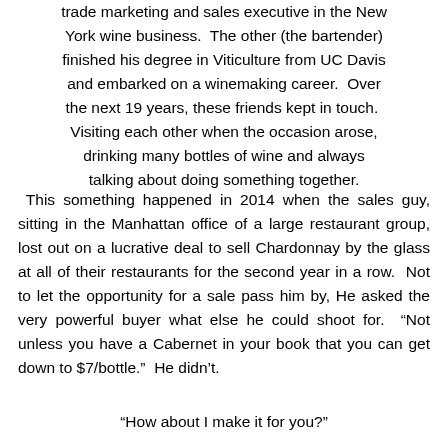trade marketing and sales executive in the New York wine business.  The other (the bartender) finished his degree in Viticulture from UC Davis and embarked on a winemaking career.  Over the next 19 years, these friends kept in touch.  Visiting each other when the occasion arose, drinking many bottles of wine and always talking about doing something together.
This something happened in 2014 when the sales guy, sitting in the Manhattan office of a large restaurant group, lost out on a lucrative deal to sell Chardonnay by the glass at all of their restaurants for the second year in a row.  Not to let the opportunity for a sale pass him by, He asked the very powerful buyer what else he could shoot for.  “Not unless you have a Cabernet in your book that you can get down to $7/bottle.”  He didn’t.
“How about I make it for you?”